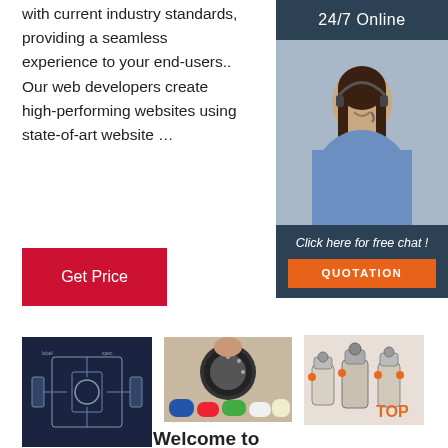with current industry standards, providing a seamless experience to your end-users.. Our web developers create high-performing websites using state-of-art website …
[Figure (other): Red button labeled 'Get Price']
[Figure (other): Sidebar panel with '24/7 Online' header, photo of woman with headset, 'Click here for free chat!' text, and orange QUOTATION button]
[Figure (photo): Engineering/lab machine on dark blue background]
[Figure (photo): Hand pressing a gauge on colored ink containers]
[Figure (photo): Industrial pressure tanks equipment with TOP label]
Welcome to